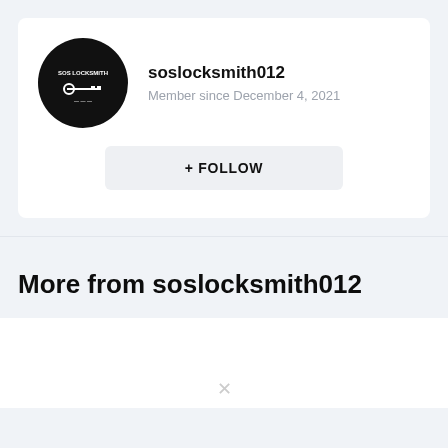[Figure (logo): Circular black logo with 'SOS LOCKSMITH' text and a key icon]
soslocksmith012
Member since December 4, 2021
+ FOLLOW
More from soslocksmith012